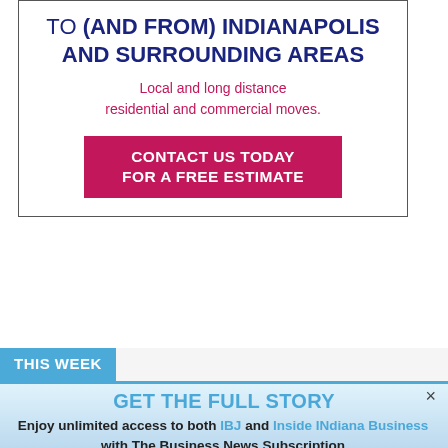[Figure (infographic): Advertisement for a moving company serving Indianapolis and surrounding areas. Shows bold dark blue text 'TO (AND FROM) INDIANAPOLIS AND SURROUNDING AREAS', pink/magenta text 'Local and long distance residential and commercial moves.' and a pink CTA button 'CONTACT US TODAY FOR A FREE ESTIMATE']
THIS WEEK
GET THE FULL STORY
Enjoy unlimited access to both IBJ and Inside INdiana Business with The Business News Subscription
Subscribe Now
Already a paid subscriber?
Log In